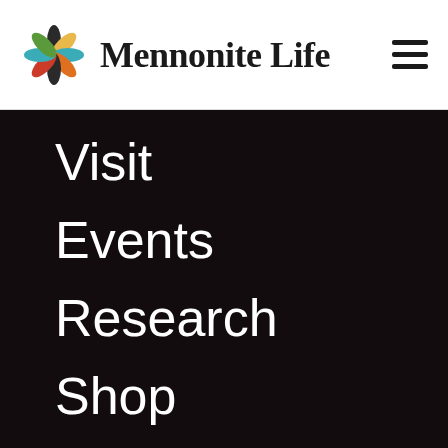Mennonite Life
Visit
Events
Research
Shop